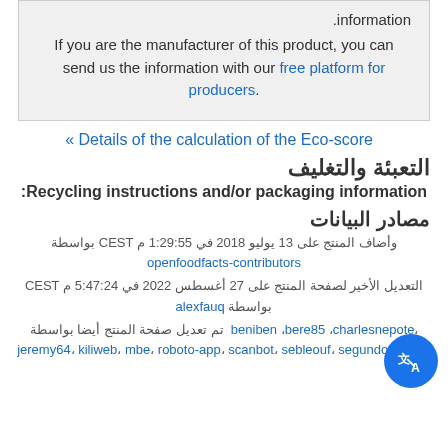.information
If you are the manufacturer of this product, you can send us the information with our free platform for producers.
« Details of the calculation of the Eco-score
التعبئة والتغليف
Recycling instructions and/or packaging information:
مصادر البيانات
وأضاف المنتج على 13 يوليو 2018 في 1:29:55 م CEST بواسطة openfoodfacts-contributors
التعديل الأخير لصفحة المنتج على 27 أغسطس 2022 في 5:47:24 م CEST بواسطة alexfauq
تم تعديل صفحة المنتج أيضا بواسطة beniben, bere85, charlesnepote, jeremy64, kiliweb, mbe, roboto-app, scanbot, sebleouf, segundo, tacite,